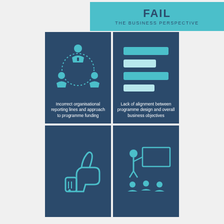FAIL
THE BUSINESS PERSPECTIVE
[Figure (infographic): Dark blue cell with three person icons connected by a dotted circle, representing organisational reporting lines]
Incorrect organisational reporting lines and approach to programme funding
[Figure (infographic): Dark blue cell with four horizontal bars of varying widths in teal and light colors, representing alignment/progress bars]
Lack of alignment between programme design and overall business objectives
[Figure (infographic): Dark blue cell with a thumbs down icon in teal outline style]
[Figure (infographic): Dark blue cell with a presenter pointing to a board with audience, representing training or presentation]